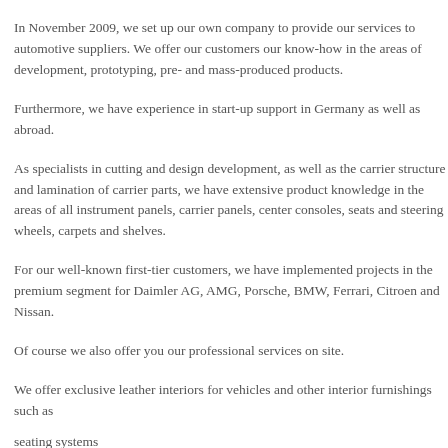In November 2009, we set up our own company to provide our services to automotive suppliers. We offer our customers our know-how in the areas of development, prototyping, pre- and mass-produced products.
Furthermore, we have experience in start-up support in Germany as well as abroad.
As specialists in cutting and design development, as well as the carrier structure and lamination of carrier parts, we have extensive product knowledge in the areas of all instrument panels, carrier panels, center consoles, seats and steering wheels, carpets and shelves.
For our well-known first-tier customers, we have implemented projects in the premium segment for Daimler AG, AMG, Porsche, BMW, Ferrari, Citroen and Nissan.
Of course we also offer you our professional services on site.
We offer exclusive leather interiors for vehicles and other interior furnishings such as
seating systems
instrument panels
door panels